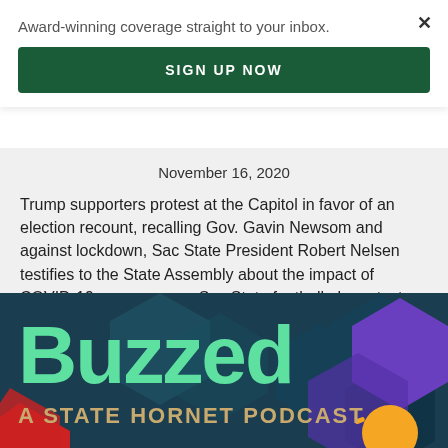Award-winning coverage straight to your inbox.
SIGN UP NOW
November 16, 2020
Trump supporters protest at the Capitol in favor of an election recount, recalling Gov. Gavin Newsom and against lockdown, Sac State President Robert Nelsen testifies to the State Assembly about the impact of COVID-19 on campus, a Sac State football player tests positive for COVID-19 and more.
[Figure (illustration): Buzzed: A State Hornet Podcast banner with large green text 'Buzzed' and subtitle 'A STATE HORNET PODCAST' on a dark teal background with hexagon shapes and colorful accents]